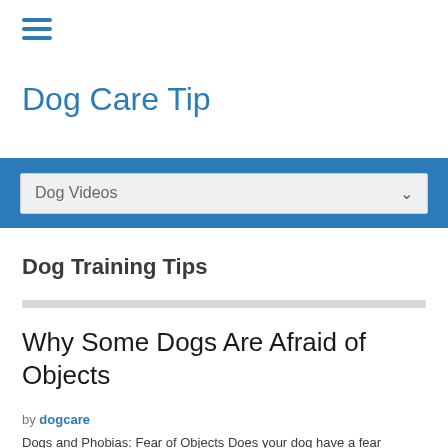[Figure (other): Hamburger menu icon with three horizontal blue lines]
Dog Care Tip
[Figure (other): Blue navigation bar containing a dropdown selector labeled 'Dog Videos' with a chevron]
Dog Training Tips
Why Some Dogs Are Afraid of Objects
by dogcare
Dogs and Phobias: Fear of Objects Does your dog have a fear